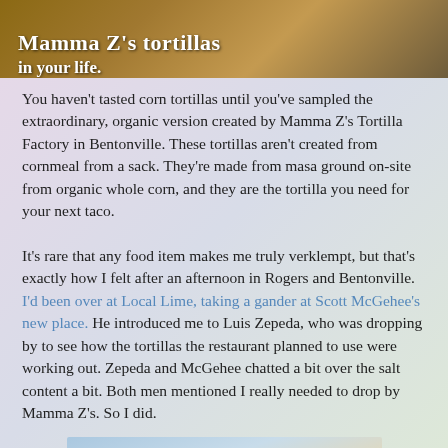[Figure (photo): Partially visible image at top with wooden/brown background and white bold text reading 'Mamma Z's tortillas in your life.']
You haven't tasted corn tortillas until you've sampled the extraordinary, organic version created by Mamma Z's Tortilla Factory in Bentonville. These tortillas aren't created from cornmeal from a sack. They're made from masa ground on-site from organic whole corn, and they are the tortilla you need for your next taco.
It's rare that any food item makes me truly verklempt, but that's exactly how I felt after an afternoon in Rogers and Bentonville. I'd been over at Local Lime, taking a gander at Scott McGehee's new place. He introduced me to Luis Zepeda, who was dropping by to see how the tortillas the restaurant planned to use were working out. Zepeda and McGehee chatted a bit over the salt content a bit. Both men mentioned I really needed to drop by Mamma Z's. So I did.
[Figure (photo): Partial photo of a building exterior with a red/terracotta roof visible against a blue sky background.]